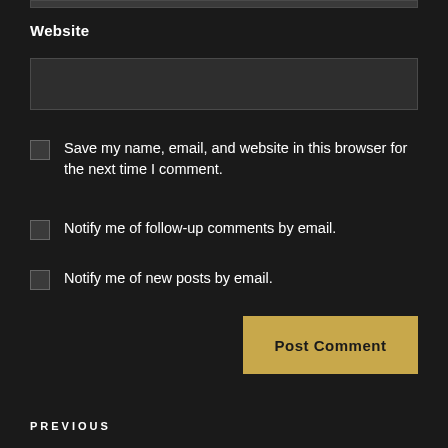Website
Save my name, email, and website in this browser for the next time I comment.
Notify me of follow-up comments by email.
Notify me of new posts by email.
Post Comment
PREVIOUS